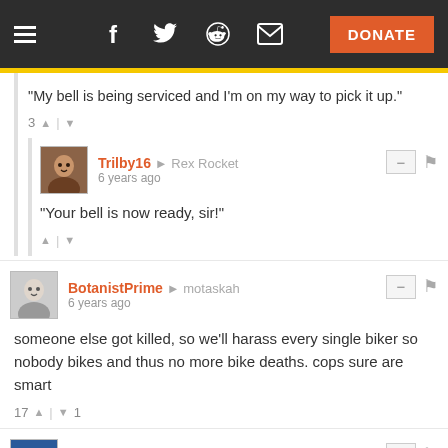Navigation bar with hamburger menu, social icons (Facebook, Twitter, Reddit, Email), and DONATE button
"My bell is being serviced and I'm on my way to pick it up."
3 ^ | v
Trilby16 → Rex Rocket  6 years ago
"Your bell is now ready, sir!"
^ | v
BotanistPrime → motaskah  6 years ago
someone else got killed, so we'll harass every single biker so nobody bikes and thus no more bike deaths. cops sure are smart
17 ^ | v 1
AS → motaskah  6 years ago